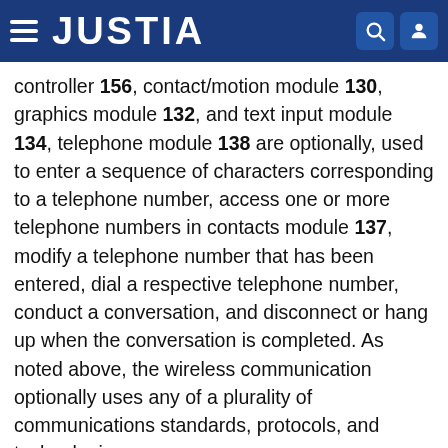JUSTIA
controller 156, contact/motion module 130, graphics module 132, and text input module 134, telephone module 138 are optionally, used to enter a sequence of characters corresponding to a telephone number, access one or more telephone numbers in contacts module 137, modify a telephone number that has been entered, dial a respective telephone number, conduct a conversation, and disconnect or hang up when the conversation is completed. As noted above, the wireless communication optionally uses any of a plurality of communications standards, protocols, and technologies.
In conjunction with RF circuitry 108, audio circuitry 110, speaker 111, microphone 113, touch screen 112, display controller 156, optical sensor 164, optical sensor controller 158, contact/motion module 130, graphics